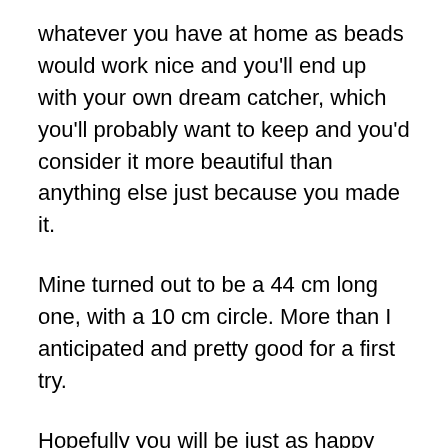whatever you have at home as beads would work nice and you'll end up with your own dream catcher, which you'll probably want to keep and you'd consider it more beautiful than anything else just because you made it.
Mine turned out to be a 44 cm long one, with a 10 cm circle. More than I anticipated and pretty good for a first try.
Hopefully you will be just as happy after you try to craft your own dream catcher from scratch. We hope that you will find the guide useful. Enjoy your crafting!